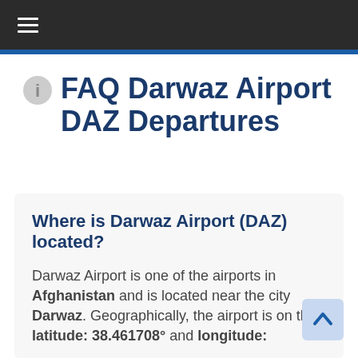≡
FAQ Darwaz Airport DAZ Departures
Where is Darwaz Airport (DAZ) located?
Darwaz Airport is one of the airports in Afghanistan and is located near the city Darwaz. Geographically, the airport is on the latitude: 38.461708° and longitude: